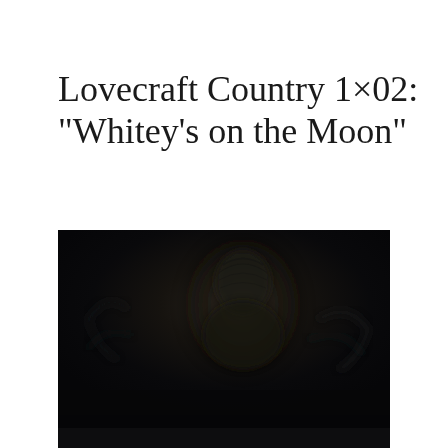Lovecraft Country 1×02: “Whitey’s on the Moon”
[Figure (photo): Dark, moody still from Lovecraft Country episode 1x02, showing a dimly lit figure silhouetted against a very dark background with subtle textures]